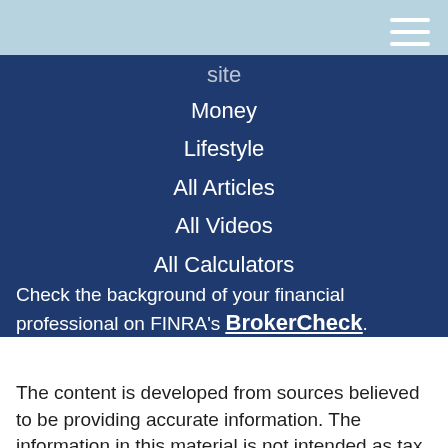Navigation menu header bar with hamburger icon
Money
Lifestyle
All Articles
All Videos
All Calculators
All Presentations
Check the background of your financial professional on FINRA's BrokerCheck.
The content is developed from sources believed to be providing accurate information. The information in this material is not intended as tax or legal advice. Please consult legal or tax professionals for specific information regarding your individual situation. Some of this material was developed and produced by FMG Suite to provide information on a topic that may be of interest. FMG Suite is not affiliated with the named